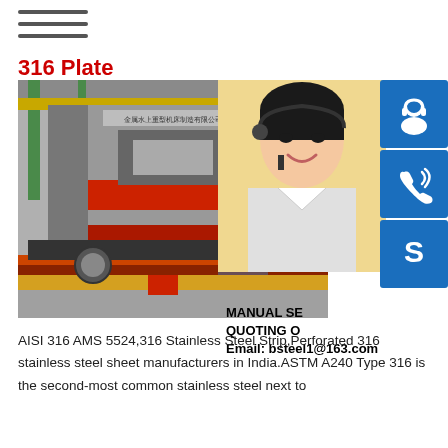≡ (hamburger menu)
316 Plate
[Figure (photo): Industrial factory floor with a large CNC milling/planing machine with red and grey components; a worker in blue clothing visible in the background. Overlaid with a customer service representative (woman with headset) photo and contact information: MANUAL SE[RVICE], QUOTING O[NLINE], Email: bsteel1@163.com. Three blue icon buttons on the right: headset/person icon, phone icon, Skype icon.]
AISI 316 AMS 5524,316 Stainless Steel Strip,Perforated 316 stainless steel sheet manufacturers in India.ASTM A240 Type 316 is the second-most common stainless steel next to